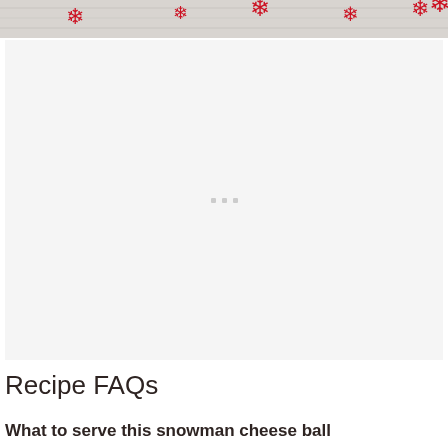[Figure (photo): Partial view of a holiday-themed photo showing a white surface with red snowflake decorations, cropped at top of page]
[Figure (other): Advertisement placeholder box with three small gray dots in center, light gray background]
Recipe FAQs
What to serve this snowman cheese ball